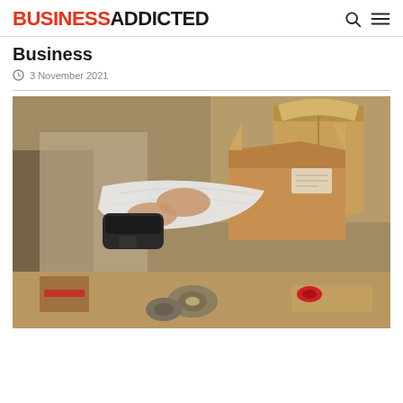BUSINESSADDICTED
Business
3 November 2021
[Figure (photo): Person packing or unpacking cardboard boxes on a table with tape, tissue paper, and packaging materials scattered around. A barcode scanner is visible. Background shows additional open boxes.]